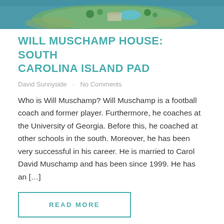[Figure (photo): Aerial photo of a waterfront island property with pool and landscaping, teal/blue water surrounding it]
WILL MUSCHAMP HOUSE: SOUTH CAROLINA ISLAND PAD
David Sunnyside · No Comments
Who is Will Muschamp? Will Muschamp is a football coach and former player. Furthermore, he coaches at the University of Georgia. Before this, he coached at other schools in the south. Moreover, he has been very successful in his career. He is married to Carol David Muschamp and has been since 1999. He has an [...]
READ MORE